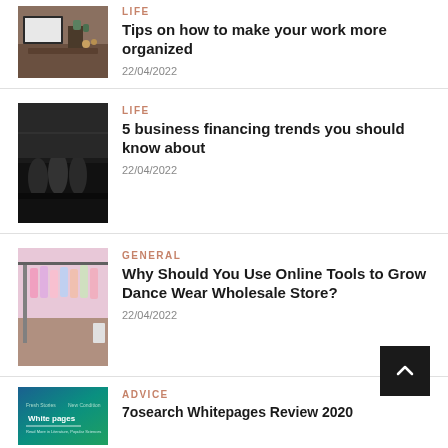[Figure (photo): Office desk with computer monitor, plants, and wooden furniture]
LIFE
Tips on how to make your work more organized
22/04/2022
[Figure (photo): People working in a dark industrial/studio space with silhouettes]
LIFE
5 business financing trends you should know about
22/04/2022
[Figure (photo): Dance wear store with colorful costumes on racks]
GENERAL
Why Should You Use Online Tools to Grow Dance Wear Wholesale Store?
22/04/2022
[Figure (photo): White pages book cover with teal gradient background]
ADVICE
7osearch Whitepages Review 2020